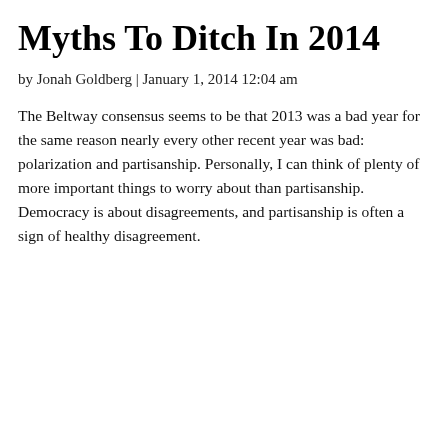Myths To Ditch In 2014
by Jonah Goldberg | January 1, 2014 12:04 am
The Beltway consensus seems to be that 2013 was a bad year for the same reason nearly every other recent year was bad: polarization and partisanship. Personally, I can think of plenty of more important things to worry about than partisanship. Democracy is about disagreements, and partisanship is often a sign of healthy disagreement.